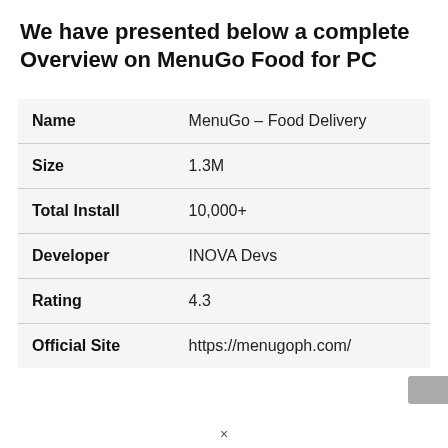We have presented below a complete Overview on MenuGo Food for PC
| Field | Value |
| --- | --- |
| Name | MenuGo – Food Delivery |
| Size | 1.3M |
| Total Install | 10,000+ |
| Developer | INOVA Devs |
| Rating | 4.3 |
| Official Site | https://menugoph.com/ |